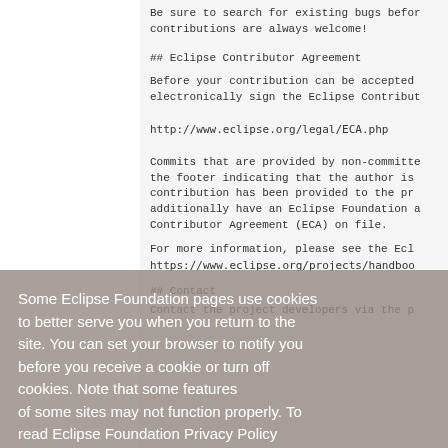Be sure to search for existing bugs before contributions are always welcome!
## Eclipse Contributor Agreement
Before your contribution can be accepted electronically sign the Eclipse Contribut http://www.eclipse.org/legal/ECA.php
Commits that are provided by non-committe the footer indicating that the author is contribution has been provided to the pr additionally have an Eclipse Foundation a Contributor Agreement (ECA) on file.
For more information, please see the Ecl https://www.eclipse.org/projects/handbook
## Contact
Contact the project developers via the p
Some Eclipse Foundation pages use cookies to better serve you when you return to the site. You can set your browser to notify you before you receive a cookie or turn off cookies. Note that some features of some sites may not function properly. To read Eclipse Foundation Privacy Policy click here
Decline
Allow cookies